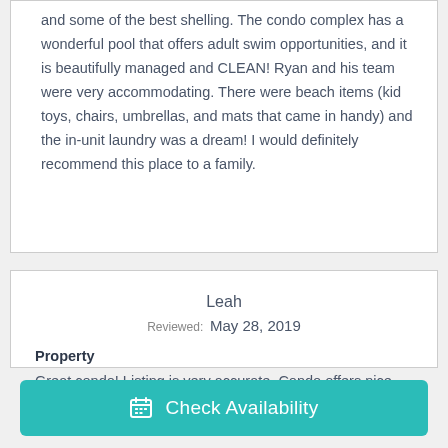and some of the best shelling. The condo complex has a wonderful pool that offers adult swim opportunities, and it is beautifully managed and CLEAN! Ryan and his team were very accommodating. There were beach items (kid toys, chairs, umbrellas, and mats that came in handy) and the in-unit laundry was a dream! I would definitely recommend this place to a family.
Leah
Reviewed: May 28, 2019
Property
Great condo! Listing is very accurate. Condo offers nice pool area and beach access. Ryan was quick to
Check Availability